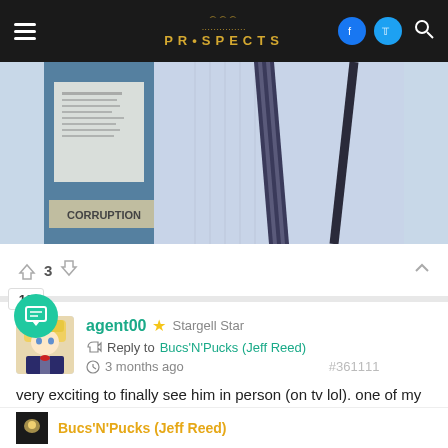Prospects (navigation bar with logo, hamburger menu, Facebook, Twitter, Search icons)
[Figure (photo): Partial view of a person wearing a light blue shirt with a dark diagonal striped tie and suspenders, with a bulletin board visible in the background showing a sign that reads CORRUPTION]
👍 3 👎
agent00 ⭐ Stargell Star
Reply to Bucs'N'Pucks (Jeff Reed)
3 months ago #361111

very exciting to finally see him in person (on tv lol). one of my favorite prospects in the system

👍 2 👎
Bucs'N'Pucks (Jeff Reed)